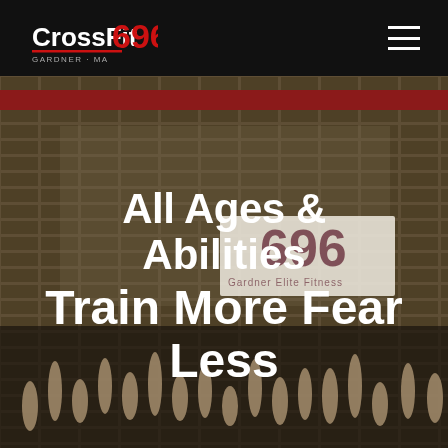[Figure (logo): CrossFit 696 logo with red and white text, subtitle GARDNER · MA]
[Figure (photo): Exterior of CrossFit 696 gym building with brick wall, red accent stripe, gym sign, and crowd of people with raised hands in foreground]
All Ages & Abilities Train More Fear Less